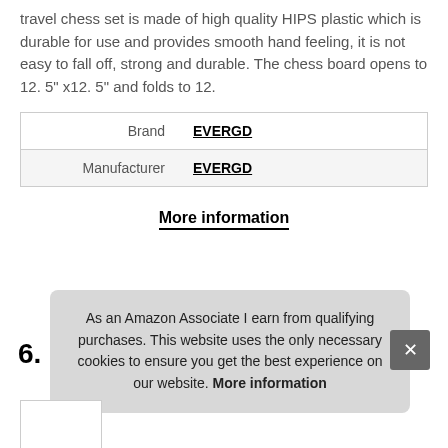travel chess set is made of high quality HIPS plastic which is durable for use and provides smooth hand feeling, it is not easy to fall off, strong and durable. The chess board opens to 12. 5" x12. 5" and folds to 12.
| Brand | EVERGD |
| Manufacturer | EVERGD |
More information
6.
As an Amazon Associate I earn from qualifying purchases. This website uses the only necessary cookies to ensure you get the best experience on our website. More information